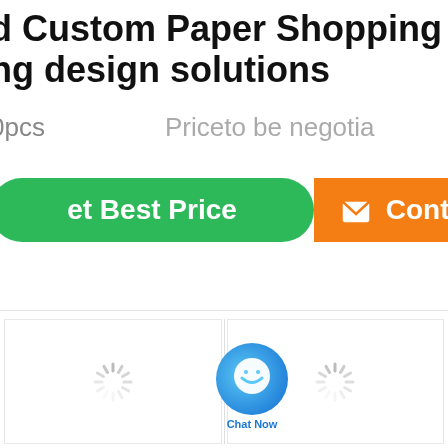d Custom Paper Shopping Bag ng design solutions
0pcs   Pricêto be negotia
[Figure (screenshot): Green 'Get Best Price' button, blue chat bubble 'Chat Now' overlay, orange 'Contact' button]
[Figure (photo): Loading spinner placeholder image 1]
[Figure (photo): Loading spinner placeholder image 2]